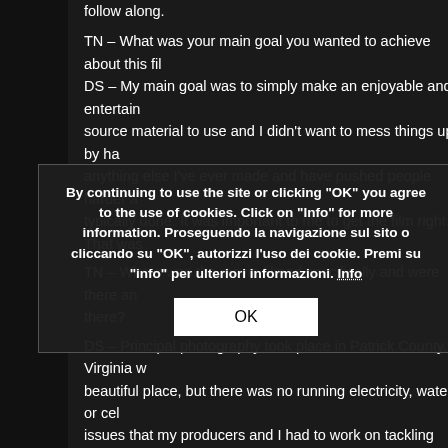follow along.

TN – What was your main goal you wanted to achieve about this fil
DS – My main goal was to simply make an enjoyable and entertain source material to use and I didn't want to mess things up by ha anything else I've ever made and have pushed people harder a typically done. It was important to me to get the film right. That was

TN – Where was the movie filmed specifically and were there a there?
DS – Principal photography took place in Patrick County, Virginia w beautiful place, but there was no running electricity, water or cel issues that my producers and I had to work on tackling every day. and crew worked very hard during the shoot and we all made the b a handful of locations in North Carolina including Mount Airy, Danbu

TN – How long was the film shoot and process from start to finish?
DS – From the point of signing the contract with Mr. King to the pr ... ting l ... urcing fun But w ... make the film. The four days while othe ... ot over the course of several on the film in post-production for about six weeks. Between editing composer, etc. there was a tremendous amount of work being done
By continuing to use the site or clicking "OK" you agree to the use of cookies. Click on "Info" for more information. Proseguendo la navigazione sul sito o cliccando su "OK", autorizzi l'uso dei cookie. Premi su "info" per ulteriori informazioni. Info
OK